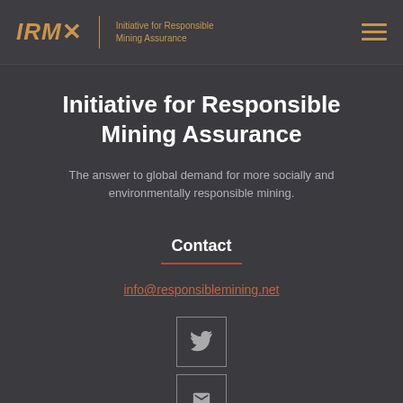IRMA — Initiative for Responsible Mining Assurance
Initiative for Responsible Mining Assurance
The answer to global demand for more socially and environmentally responsible mining.
Contact
info@responsiblemining.net
[Figure (other): Twitter social media icon button]
[Figure (other): Second social media icon button (partially visible)]